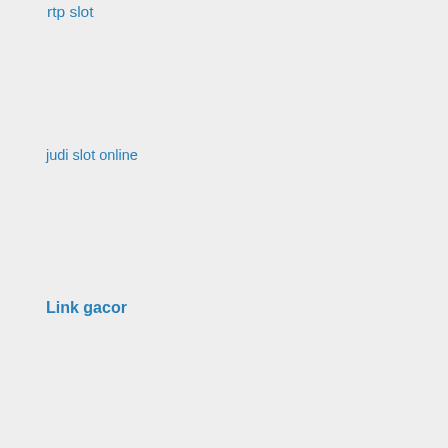rtp slot
judi slot online
Link gacor
situs slot gacor
situs slot
game judi slot online
slot pulsa